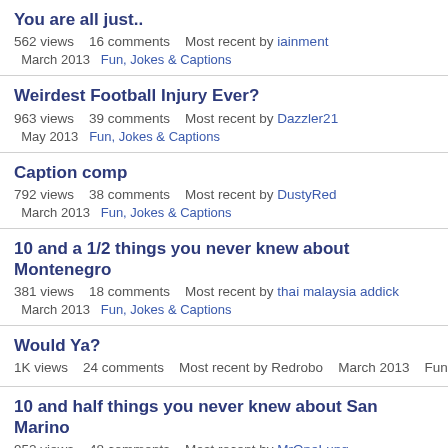You are all just..
562 views   16 comments   Most recent by iainment
March 2013   Fun, Jokes & Captions
Weirdest Football Injury Ever?
963 views   39 comments   Most recent by Dazzler21
May 2013   Fun, Jokes & Captions
Caption comp
792 views   38 comments   Most recent by DustyRed
March 2013   Fun, Jokes & Captions
10 and a 1/2 things you never knew about Montenegro
381 views   18 comments   Most recent by thai malaysia addick
March 2013   Fun, Jokes & Captions
Would Ya?
1K views   24 comments   Most recent by Redrobo   March 2013   Fun, Jokes & Captions
10 and half things you never knew about San Marino
952 views   48 comments   Most recent by MrOneLung
March 2013   Fun, Jokes & Captions
"Who said...." Quotes from TV series